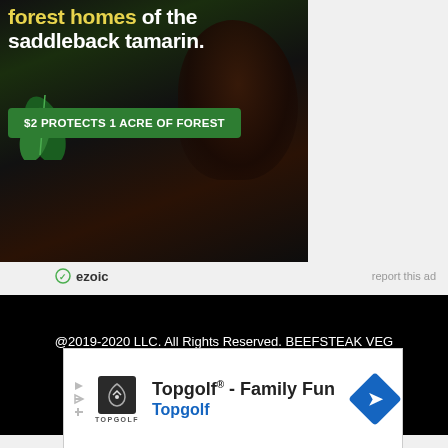[Figure (illustration): Advertisement banner for rainforest conservation featuring a saddleback tamarin monkey in dark background with green foliage. Text overlay reads 'forest homes of the saddleback tamarin.' with a green button '$2 PROTECTS 1 ACRE OF FOREST'. Below the image is the Ezoic logo and 'report this ad' link.]
@2019-2020 LLC. All Rights Reserved. BEEFSTEAK VEG
About Us. Amazon Affiliate. Privacy Policy
7661 Melrose Avenue, Los Angeles 90046
[Figure (illustration): Topgolf advertisement banner showing Topgolf logo, text 'Topgolf® - Family Fun' and 'Topgolf' subtitle in blue, with a blue diamond navigation arrow icon on the right.]